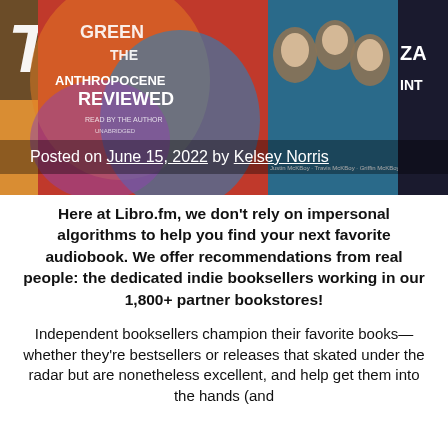[Figure (photo): Hero image showing audiobook covers including 'The Anthropocene Reviewed' and other titles against a colorful background]
Posted on June 15, 2022 by Kelsey Norris
Here at Libro.fm, we don't rely on impersonal algorithms to help you find your next favorite audiobook. We offer recommendations from real people: the dedicated indie booksellers working in our 1,800+ partner bookstores!
Independent booksellers champion their favorite books—whether they're bestsellers or releases that skated under the radar but are nonetheless excellent, and help get them into the hands (and